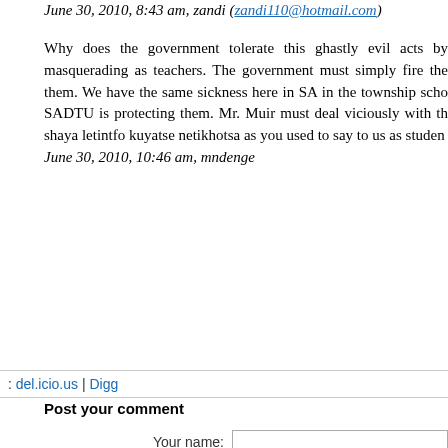June 30, 2010, 8:43 am, zandi (zandi110@hotmail.com)
Why does the government tolerate this ghastly evil acts by masquerading as teachers. The government must simply fire the them. We have the same sickness here in SA in the township scho SADTU is protecting them. Mr. Muir must deal viciously with th shaya letintfo kuyatse netikhotsa as you used to say to us as studen June 30, 2010, 10:46 am, mndenge
: del.icio.us | Digg
Post your comment
Your name:
Your e-mail address:
Add your comments:
Please enter the code you see in the image:
Image:
Code: